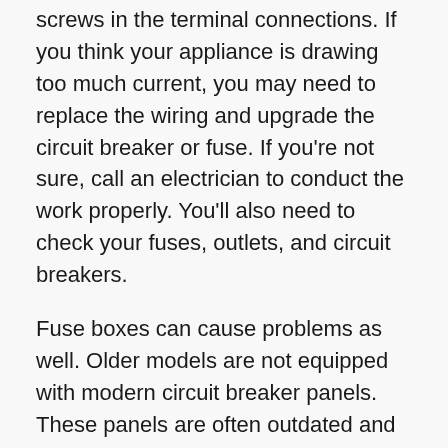screws in the terminal connections. If you think your appliance is drawing too much current, you may need to replace the wiring and upgrade the circuit breaker or fuse. If you're not sure, call an electrician to conduct the work properly. You'll also need to check your fuses, outlets, and circuit breakers.
Fuse boxes can cause problems as well. Older models are not equipped with modern circuit breaker panels. These panels are often outdated and need replacing. However, newer panels are equipped with GFCI protection, which automatically shuts off the electrical panel if water gets too close to an outlet. Choosing a new panel will likely cost you more than replacing old circuit breaker panels. The price tag will likely be around $50 apiece.
Professional electricians are well-trained and can...